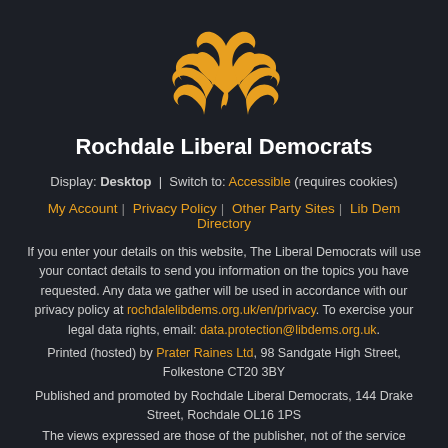[Figure (logo): Liberal Democrats golden bird/phoenix logo on dark background]
Rochdale Liberal Democrats
Display: Desktop | Switch to: Accessible (requires cookies)
My Account | Privacy Policy | Other Party Sites | Lib Dem Directory
If you enter your details on this website, The Liberal Democrats will use your contact details to send you information on the topics you have requested. Any data we gather will be used in accordance with our privacy policy at rochdalelibdems.org.uk/en/privacy. To exercise your legal data rights, email: data.protection@libdems.org.uk.
Printed (hosted) by Prater Raines Ltd, 98 Sandgate High Street, Folkestone CT20 3BY
Published and promoted by Rochdale Liberal Democrats, 144 Drake Street, Rochdale OL16 1PS
The views expressed are those of the publisher, not of the service